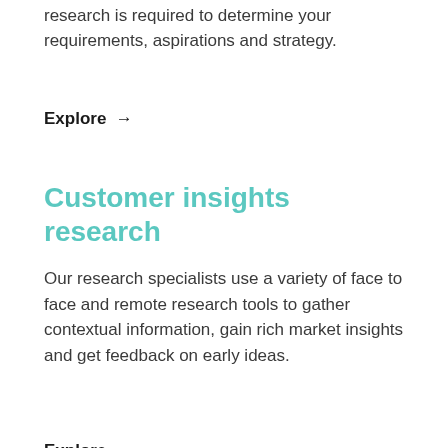research is required to determine your requirements, aspirations and strategy.
Explore →
Customer insights research
Our research specialists use a variety of face to face and remote research tools to gather contextual information, gain rich market insights and get feedback on early ideas.
Explore →